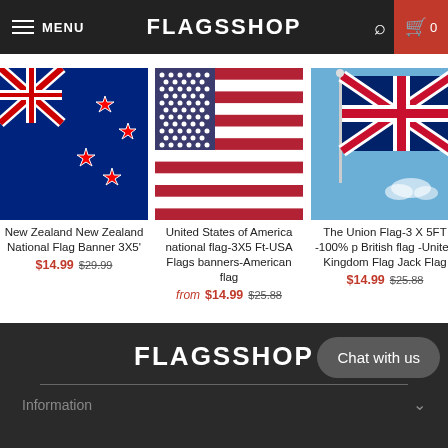FLAGSSHOP — MENU | Cart 0
[Figure (photo): New Zealand national flag on blue background with Union Jack and stars]
New Zealand New Zealand National Flag Banner 3X5'
$14.99 $29.99
[Figure (photo): United States of America national flag on display]
United States of America national flag-3X5 Ft-USA Flags banners-American flag
from $14.99 $25.88
[Figure (photo): Union Jack / British flag on a pole against blue sky]
The Union Flag-3 X 5FT -100% p British flag -United Kingdom Flag Jack Flag
$14.99 $25.88
FLAGSSHOP — Information — Chat with us